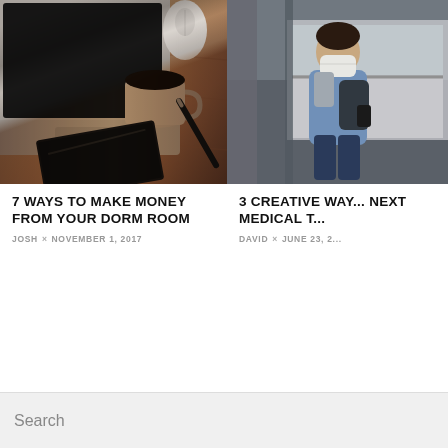[Figure (photo): Overhead view of a wooden desk with a laptop, computer mouse, coffee mug, pen, and black notebook/planner]
7 WAYS TO MAKE MONEY FROM YOUR DORM ROOM
JOSH × NOVEMBER 1, 2017
[Figure (photo): Young man wearing a face mask and carrying a backpack standing at a subway/metro platform]
3 CREATIVE WAY... NEXT MEDICAL T...
DAVID × JUNE 23, 2...
Search